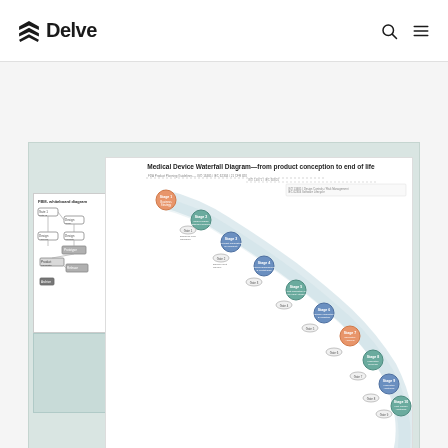[Figure (logo): Delve company logo with angular 'S'-like icon and wordmark 'Delve' in bold dark text]
[Figure (schematic): Medical Device Waterfall Diagram showing product development from conception to end of life. Features interconnected circular stage nodes (Stage 1 Business Strategy through Stage 10 Post-Launch Monitoring) connected by spiral/waterfall flow lines, with Gate decision points between stages. Left panel shows FBD (Functional Block Diagram) with smaller flow nodes. Background is mint/teal color with white diagram area. Delve logo at bottom.]